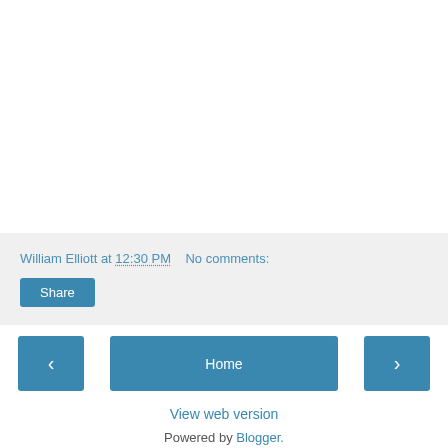William Elliott at 12:30 PM    No comments:
Share
‹
Home
›
View web version
Powered by Blogger.